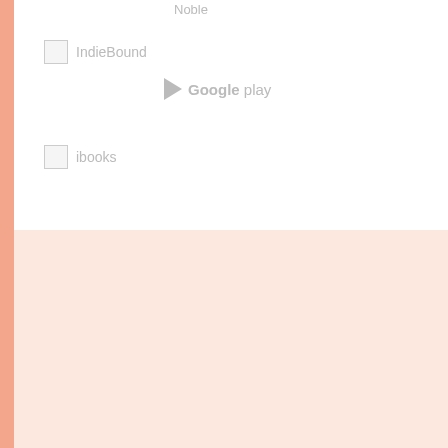[Figure (logo): IndieBound store link with placeholder image icon and grey text label]
[Figure (logo): Google Play store link with play triangle icon and grey text]
[Figure (logo): iBooks store link with placeholder image icon and grey text label]
Edmund de Waal is one of the world's leading ceramic artists, and his porcelain is held in many major museum collections. His bestselling memoir, The Hare with Amber Eyes has been published in thirty languages and won the Costa Biography Award and